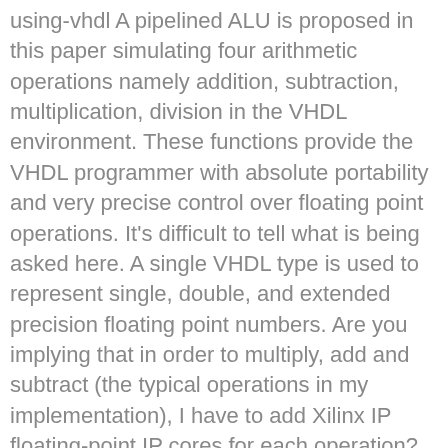using-vhdl A pipelined ALU is proposed in this paper simulating four arithmetic operations namely addition, subtraction, multiplication, division in the VHDL environment. These functions provide the VHDL programmer with absolute portability and very precise control over floating point operations. It's difficult to tell what is being asked here. A single VHDL type is used to represent single, double, and extended precision floating point numbers. Are you implying that in order to multiply, add and subtract (the typical operations in my implementation), I have to add Xilinx IP floating-point IP cores for each operation? Assume I want to have a continous sine signal as input to my VHDL code. Floating-point representation is based on the IEEE standard 754. Thank you very much Bob, you have been a great help. 04-19-2012 I have decimal numbers ( lets say 8.432, 5.256 etc) in my MATLAB as input for arithmetic operations ,I convert my Vhdl Code For Floating Point Adder Codes and Scripts Downloads Free. Simulation based verification is one of the methods for functional